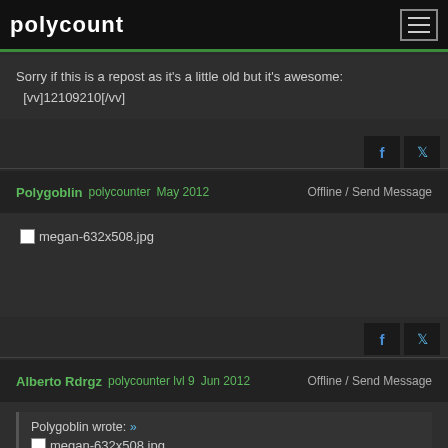polycount
Sorry if this is a repost as it's a little old but it's awesome: [vv]12109210[/vv]
Polygoblin  polycounter  May 2012   Offline / Send Message
[Figure (photo): Broken image placeholder: megan-632x508.jpg]
Alberto Rdrgz  polycounter lvl 9  Jun 2012   Offline / Send Message
Polygoblin wrote: »
[Figure (photo): Broken image placeholder: megan-632x508.jpg]